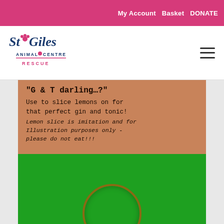My Account  Basket  DONATE
[Figure (logo): St Giles Animal Centre Rescue logo — stylized text with a paw print]
[Figure (photo): Product photo of a G&T lemon slicer gift item. The packaging shows a tan/brown card with text reading: '"G & T darling...?" Use to slice lemons on for that perfect gin and tonic! Lemon slice is imitation and for Illustration purposes only - please do not eat!!!' Below the card is a bright green box/tray with a circular holder at the bottom, presumably for a glass.]